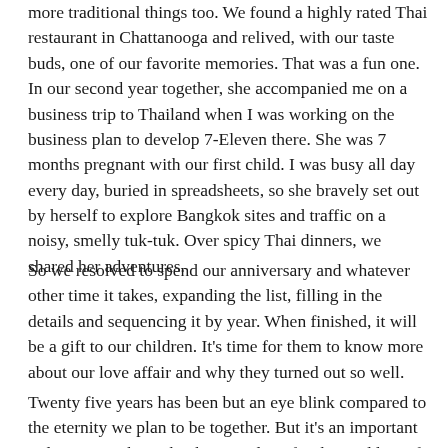more traditional things too.  We found a highly rated Thai restaurant in Chattanooga and relived, with our taste buds, one of our favorite memories.  That was a fun one.  In our second year together, she accompanied me on a business trip to Thailand when I was working on the business plan to develop 7-Eleven there.  She was 7 months pregnant with our first child.  I was busy all day every day, buried in spreadsheets, so she bravely set out by herself to explore Bangkok sites and traffic on a noisy, smelly tuk-tuk.  Over spicy Thai dinners, we shared her adventures.
So we resolved to spend our anniversary and whatever other time it takes, expanding the list, filling in the details and sequencing it by year. When finished, it will be a gift to our children. It's time for them to know more about our love affair and why they turned out so well.
Twenty five years has been but an eye blink compared to the eternity we plan to be together. But it's an important milestone on the path where my love for this goddess of patience